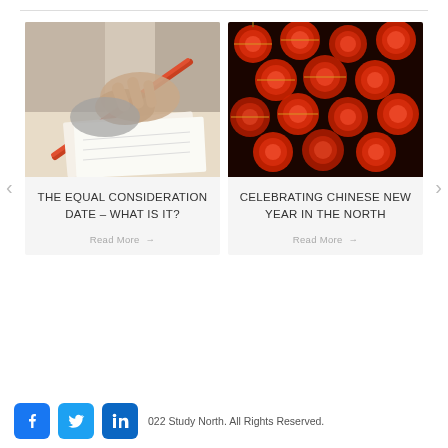[Figure (photo): Hand writing in a notebook with a red pencil, close-up photo]
THE EQUAL CONSIDERATION DATE – WHAT IS IT?
Read More →
[Figure (photo): Many red Chinese lanterns hanging overhead, nighttime festival photo]
CELEBRATING CHINESE NEW YEAR IN THE NORTH
Read More →
022 Study North. All Rights Reserved.